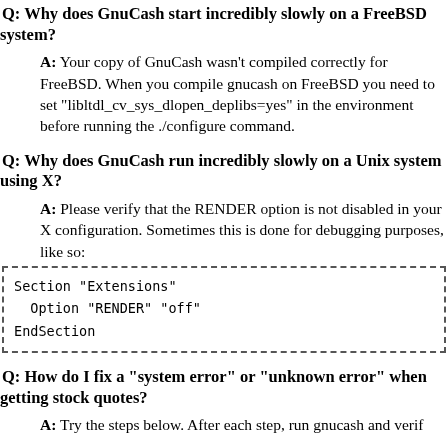Q: Why does GnuCash start incredibly slowly on a FreeBSD system?
A: Your copy of GnuCash wasn't compiled correctly for FreeBSD. When you compile gnucash on FreeBSD you need to set "libltdl_cv_sys_dlopen_deplibs=yes" in the environment before running the ./configure command.
Q: Why does GnuCash run incredibly slowly on a Unix system using X?
A: Please verify that the RENDER option is not disabled in your X configuration. Sometimes this is done for debugging purposes, like so:
[Figure (other): Code block showing X configuration snippet: Section "Extensions", Option "RENDER" "off", EndSection]
Q: How do I fix a "system error" or "unknown error" when getting stock quotes?
A: Try the steps below. After each step, run gnucash and verify if the problem is fixed.